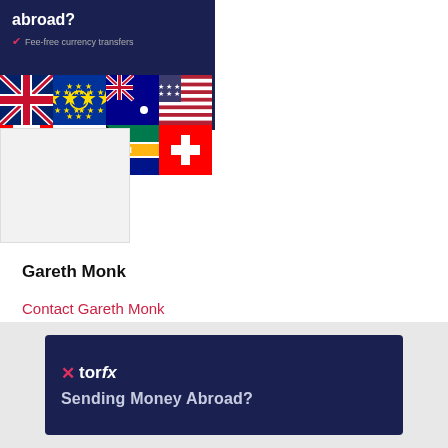[Figure (infographic): TorFX advertisement banner showing 'abroad?' headline, 'Fee-free currency transfers' with checkmark, and a grid of 8 country flags (UK, EU, Australia, USA, Canada, Japan, South Africa, Switzerland) on dark navy background]
[Figure (photo): Profile photo placeholder for Gareth Monk]
Gareth Monk
Contact Gareth Monk
[Figure (logo): TorFX banner with logo and tagline 'Sending Money Abroad?' on dark navy background]